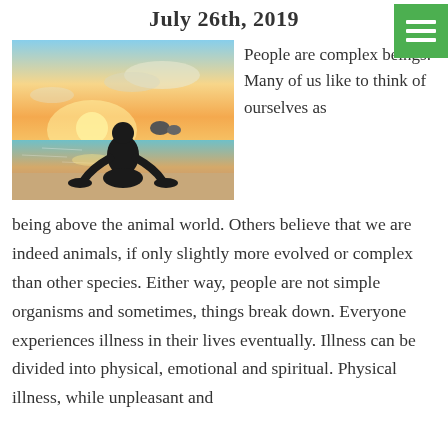July 26th, 2019
[Figure (photo): Person sitting on a beach facing the ocean at sunset, silhouetted against a colorful sky with warm orange and yellow hues near the horizon and blue sky above.]
People are complex beings. Many of us like to think of ourselves as being above the animal world. Others believe that we are indeed animals, if only slightly more evolved or complex than other species. Either way, people are not simple organisms and sometimes, things break down. Everyone experiences illness in their lives eventually. Illness can be divided into physical, emotional and spiritual. Physical illness, while unpleasant and